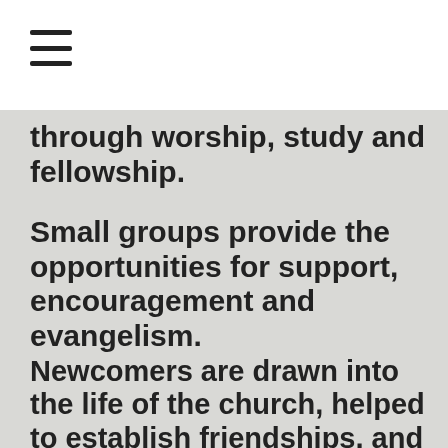[Figure (other): Hamburger menu icon with three horizontal lines]
through worship, study and fellowship.
Small groups provide the opportunities for support, encouragement and evangelism.
Newcomers are drawn into the life of the church, helped to establish friendships, and to find the opportunities for service which are right for them.